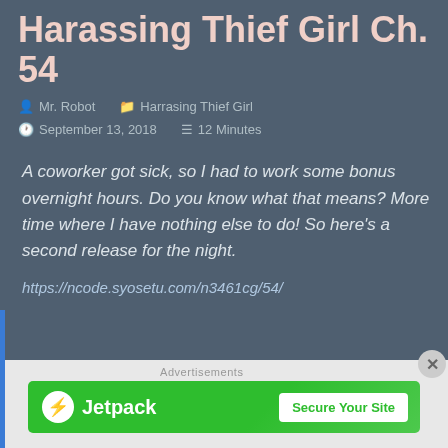Harassing Thief Girl Ch. 54
Mr. Robot   Harrasing Thief Girl   September 13, 2018   12 Minutes
A coworker got sick, so I had to work some bonus overnight hours. Do you know what that means? More time where I have nothing else to do! So here's a second release for the night.
https://ncode.syosetu.com/n3461cg/54/
Advertisements
[Figure (screenshot): Jetpack advertisement banner with green background, Jetpack logo on left and 'Secure Your Site' button on right]